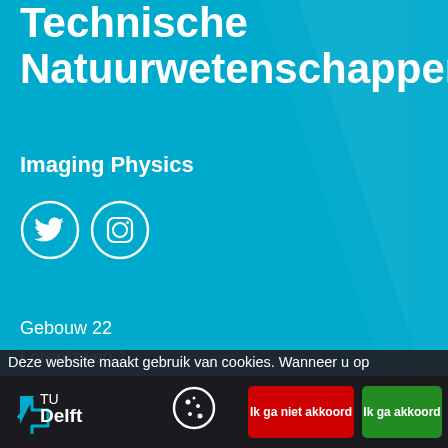Technische Natuurwetenschappen
Imaging Physics
[Figure (illustration): Twitter and Instagram social media icons as white circles with icons inside on cyan background]
Gebouw 22
Lorentzweg 1
2628 CJ Delft
T +31 15 27 84095
E-mail: imephysics@tudelft.nl
Deze website maakt gebruik van cookies. Wanneer u op "Ik ga akkoord" klikt, geeft u toestemming voor het gebruik van cookies. Wat zijn cookies?
Plattegrond en gebouwen
[Figure (logo): TU Delft logo in white on dark bottom bar]
[Figure (illustration): Cookie settings icon on dark bottom bar]
Ik ga niet akkoord
Ik ga akkoord